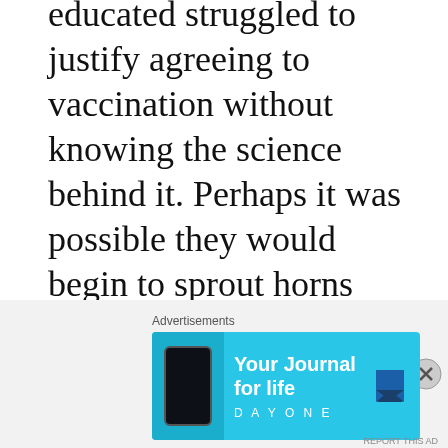educated struggled to justify agreeing to vaccination without knowing the science behind it. Perhaps it was possible they would begin to sprout horns and udders in the future? Nobody could say for certain this wouldn't happen.
Others were less resistant. Napoleon honoured Jenner with a medal after the Frenchman vaccinated his troops
[Figure (other): Advertisement banner for DayOne journal app, light blue background with phone image, text 'Your Journal for life' and DAYONE brand logo]